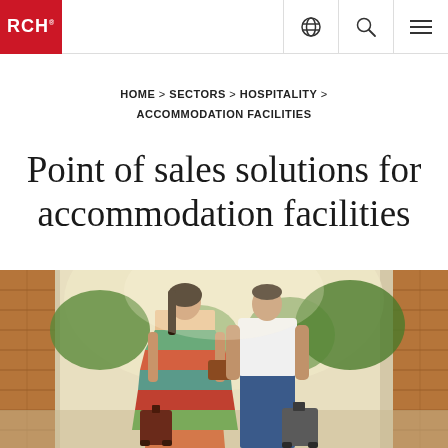RCH
HOME > SECTORS > HOSPITALITY > ACCOMMODATION FACILITIES
Point of sales solutions for accommodation facilities
[Figure (photo): A couple walking with rolling luggage through an archway, the woman in a colorful maxi dress and the man in a white t-shirt and jeans, outdoor setting with brick pillars and trees]